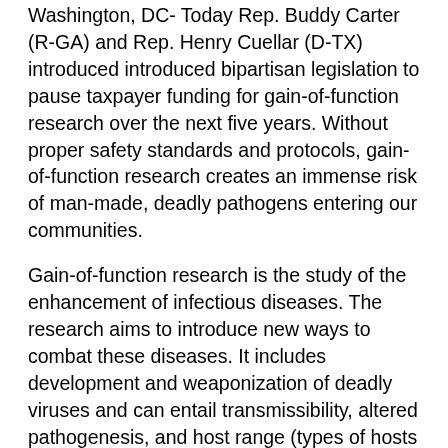Washington, DC- Today Rep. Buddy Carter (R-GA) and Rep. Henry Cuellar (D-TX) introduced introduced bipartisan legislation to pause taxpayer funding for gain-of-function research over the next five years. Without proper safety standards and protocols, gain-of-function research creates an immense risk of man-made, deadly pathogens entering our communities.
Gain-of-function research is the study of the enhancement of infectious diseases. The research aims to introduce new ways to combat these diseases. It includes development and weaponization of deadly viruses and can entail transmissibility, altered pathogenesis, and host range (types of hosts the disease can infect).
“This is something we never should have allowed without proper oversight and safety protocols,” said Carter. “We knew the dangers of gain-of-function research, but the National Institute of Health and Dr. Fauci continued to fund it in America and overseas. Evidence continues to mount that COVID-19 originated from the Wuhan Institute of Virology with research funded by U.S. taxpayers. We must double down on our efforts to prevent irresponsible research and protect our communities from future pandemics. Our bill will prevent taxpayer funds from